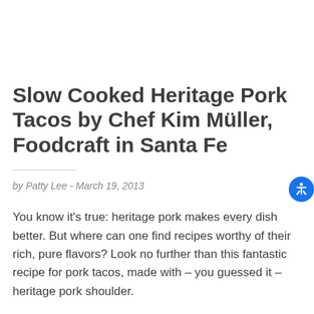Slow Cooked Heritage Pork Tacos by Chef Kim Müller, Foodcraft in Santa Fe
by Patty Lee - March 19, 2013
You know it's true: heritage pork makes every dish better. But where can one find recipes worthy of their rich, pure flavors? Look no further than this fantastic recipe for pork tacos, made with – you guessed it – heritage pork shoulder.